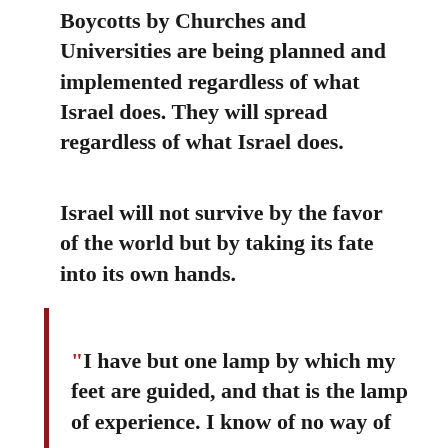Boycotts by Churches and Universities are being planned and implemented regardless of what Israel does. They will spread regardless of what Israel does.
Israel will not survive by the favor of the world but by taking its fate into its own hands.
“I have but one lamp by which my feet are guided, and that is the lamp of experience. I know of no way of